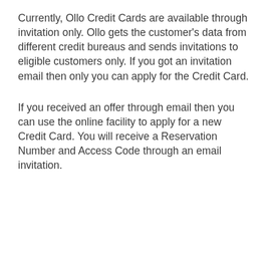Currently, Ollo Credit Cards are available through invitation only. Ollo gets the customer's data from different credit bureaus and sends invitations to eligible customers only. If you got an invitation email then only you can apply for the Credit Card.
If you received an offer through email then you can use the online facility to apply for a new Credit Card. You will receive a Reservation Number and Access Code through an email invitation.